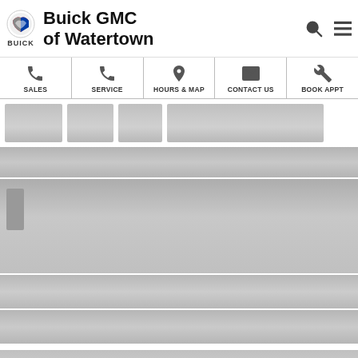[Figure (logo): Buick logo circle with BUICK text below]
Buick GMC of Watertown
[Figure (infographic): Navigation bar with icons and labels: SALES (phone icon), SERVICE (phone icon), HOURS & MAP (map pin icon), CONTACT US (envelope icon), BOOK APPT (wrench icon)]
[Figure (screenshot): Loading skeleton placeholder blocks representing page content loading state]